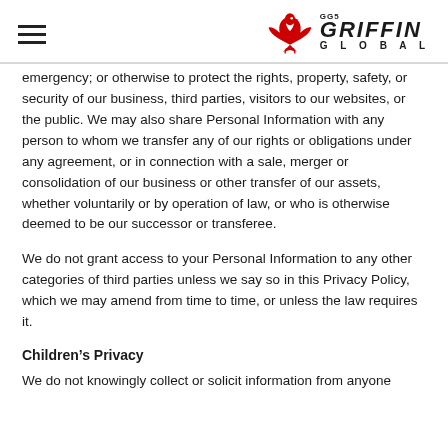GG5 GRIFFIN GLOBAL
emergency; or otherwise to protect the rights, property, safety, or security of our business, third parties, visitors to our websites, or the public. We may also share Personal Information with any person to whom we transfer any of our rights or obligations under any agreement, or in connection with a sale, merger or consolidation of our business or other transfer of our assets, whether voluntarily or by operation of law, or who is otherwise deemed to be our successor or transferee.
We do not grant access to your Personal Information to any other categories of third parties unless we say so in this Privacy Policy, which we may amend from time to time, or unless the law requires it.
Children’s Privacy
We do not knowingly collect or solicit information from anyone